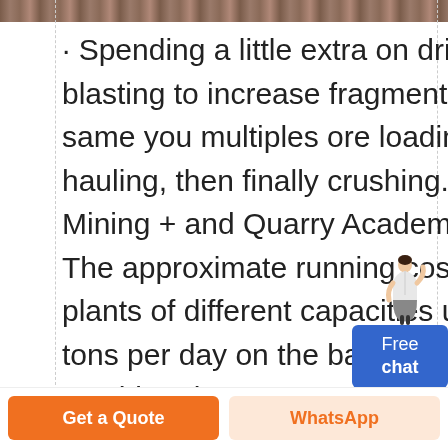[Figure (photo): Partial view of a mining or quarry scene at the top of the page]
· Spending a little extra on drilling and blasting to increase fragmentation will same you multiples ore loading and hauling, then finally crushing.. The Experts: Mining + and Quarry Academy = all agree. The approximate running costs for crushing plants of different capacities up to 4,000 tons per day on the basis of an eighthour crushing day are easy to
[Figure (illustration): Free chat widget with a person illustration and a blue button labeled 'Free chat']
Get a Quote
WhatsApp